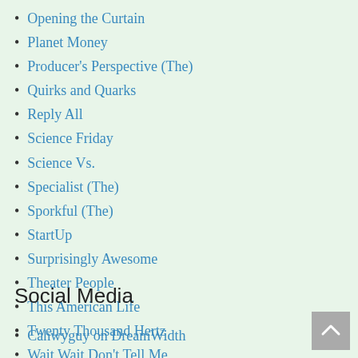Opening the Curtain
Planet Money
Producer's Perspective (The)
Quirks and Quarks
Reply All
Science Friday
Science Vs.
Specialist (The)
Sporkful (The)
StartUp
Surprisingly Awesome
Theater People
This American Life
Twenty Thousand Hertz
Wait Wait Don't Tell Me
Woodsongs Radio Hour
Work in Progress
Social Media
Cahwyguy on DreamWidth